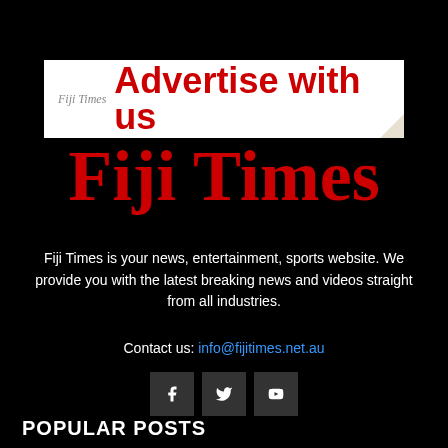[Figure (illustration): Fiji Times advertise with us banner — white background with 'Fiji Times' in grey italic serif and 'Advertise with us' in large bold red sans-serif, with a folded corner tab at bottom right]
Fiji Times
Fiji Times is your news, entertainment, sports website. We provide you with the latest breaking news and videos straight from all industries.
Contact us: info@fijitimes.net.au
[Figure (infographic): Three social media icon buttons (Facebook, Twitter, YouTube) displayed as dark square tiles with white icons]
POPULAR POSTS